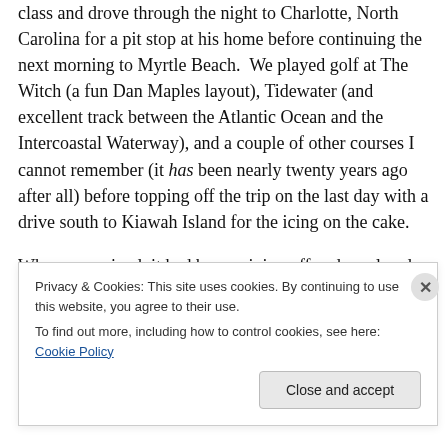class and drove through the night to Charlotte, North Carolina for a pit stop at his home before continuing the next morning to Myrtle Beach. We played golf at The Witch (a fun Dan Maples layout), Tidewater (and excellent track between the Atlantic Ocean and the Intercoastal Waterway), and a couple of other courses I cannot remember (it has been nearly twenty years ago after all) before topping off the trip on the last day with a drive south to Kiawah Island for the icing on the cake.
When we arrived, it had been raining off and on already that day and the ocean looked angry and grey like the
Privacy & Cookies: This site uses cookies. By continuing to use this website, you agree to their use.
To find out more, including how to control cookies, see here: Cookie Policy